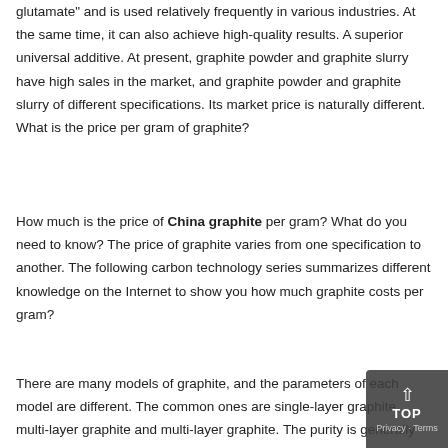glutamate" and is used relatively frequently in various industries. At the same time, it can also achieve high-quality results. A superior universal additive. At present, graphite powder and graphite slurry have high sales in the market, and graphite powder and graphite slurry of different specifications. Its market price is naturally different. What is the price per gram of graphite?
How much is the price of China graphite per gram? What do you need to know? The price of graphite varies from one specification to another. The following carbon technology series summarizes different knowledge on the Internet to show you how much graphite costs per gram?
There are many models of graphite, and the parameters of each model are different. The common ones are single-layer graphite, multi-layer graphite and multi-layer graphite. The purity is generally 95~99... depends on the requirements. The price ranges from tens to hundreds...